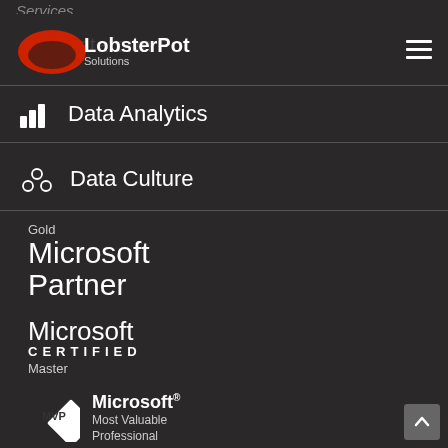Services
[Figure (logo): LobsterPot Solutions logo with red lobster icon and company name, overlaid on faint background text]
Data Analytics
Data Culture
[Figure (logo): Gold Microsoft Partner badge]
[Figure (logo): Microsoft Certified Master badge]
[Figure (logo): Microsoft MVP (Most Valuable Professional) badge - partially visible]